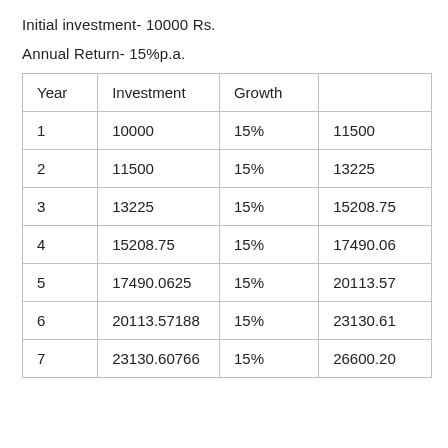Initial investment- 10000 Rs.
Annual Return- 15%p.a.
| Year | Investment | Growth |  |
| --- | --- | --- | --- |
| 1 | 10000 | 15% | 11500 |
| 2 | 11500 | 15% | 13225 |
| 3 | 13225 | 15% | 15208.75 |
| 4 | 15208.75 | 15% | 17490.06 |
| 5 | 17490.0625 | 15% | 20113.57 |
| 6 | 20113.57188 | 15% | 23130.61 |
| 7 | 23130.60766 | 15% | 26600.20 |